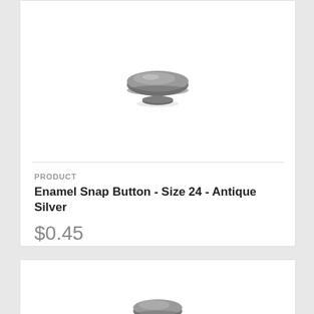[Figure (photo): Enamel snap button in antique silver finish, mushroom-cap shaped, viewed from the side showing the stud post underneath]
PRODUCT
Enamel Snap Button - Size 24 - Antique Silver
$0.45
[Figure (photo): Partial view of another snap button product, similar antique silver finish, bottom of card cut off]